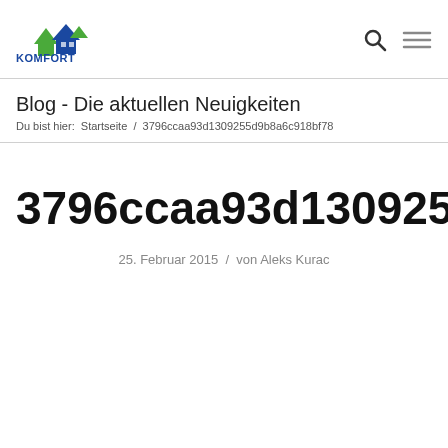KOMFORT WOHNBAU GMBH
Blog - Die aktuellen Neuigkeiten
Du bist hier:  Startseite  /  3796ccaa93d1309255d9b8a6c918bf78
3796ccaa93d1309255d9b8a6c
25. Februar 2015  /  von Aleks Kurac